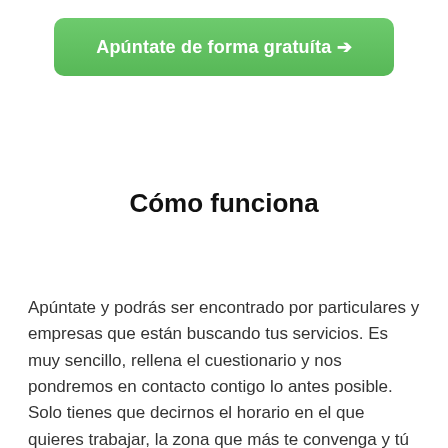[Figure (other): Green rounded button with white text: Apúntate de forma gratuíta and a right-arrow circle icon]
Cómo funciona
Apúntate y podrás ser encontrado por particulares y empresas que están buscando tus servicios. Es muy sencillo, rellena el cuestionario y nos pondremos en contacto contigo lo antes posible. Solo tienes que decirnos el horario en el que quieres trabajar, la zona que más te convenga y tú negociarás el sueldo con el empleador o publicas tu lista de precios si así lo prefieres.